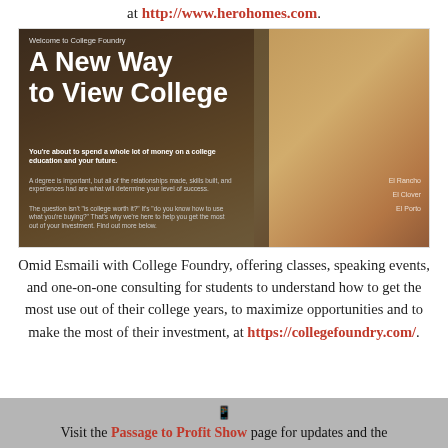at http://www.herohomes.com.
[Figure (screenshot): Screenshot of College Foundry website showing two young men at a table, with overlay text: 'Welcome to College Foundry', 'A New Way to View College', 'You're about to spend a whole lot of money on a college education and your future.', 'A degree is important, but all of the relationships made, skills built, and experiences had are what will determine your level of success.', 'The question isn't "is college worth it?" It's "do you know how to use what you're buying?" That's why we're here to help you get the most out of your investment. Find out more below.']
Omid Esmaili with College Foundry, offering classes, speaking events, and one-on-one consulting for students to understand how to get the most use out of their college years, to maximize opportunities and to make the most of their investment, at https://collegefoundry.com/.
Visit the Passage to Profit Show page for updates and the